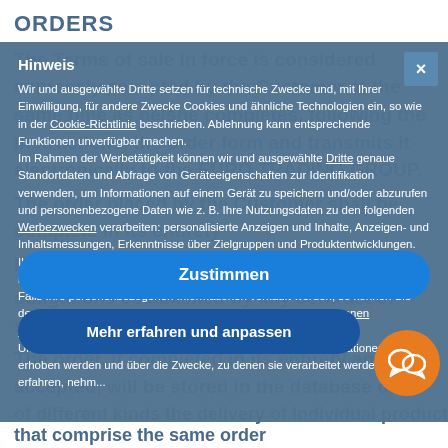ORDERS
The Terms of sale in force is considered expressly accepted by the Customer at the same time as he/she completes, following the instructions, the order form and transmits it electronically to the EURO TRADING GROUP.
The order placed by the Customer shall be complete in its entirety
Failure or improper transfer of data
obligations established by any contract of sale concluded.
The order, if completed in its entirety and if accepted, will be stored in the database of EURO TRADING GROUP for the
Hinweis
Wir und ausgewählte Dritte setzen für technische Zwecke und, mit Ihrer Einwilligung, für andere Zwecke Cookies und ähnliche Technologien ein, so wie in der Cookie-Richtlinie beschrieben. Ablehnung kann entsprechende Funktionen unverfügbar machen.
Im Rahmen der Werbetätigkeit können wir und ausgewählte Dritte genaue Standortdaten und Abfrage von Geräteeigenschaften zur Identifikation verwenden, um Informationen auf einem Gerät zu speichern und/oder abzurufen und personenbezogene Daten wie z. B. Ihre Nutzungsdaten zu den folgenden Werbezwecken verarbeiten: personalisierte Anzeigen und Inhalte, Anzeigen- und Inhaltsmessungen, Erkenntnisse über Zielgruppen und Produktentwicklungen.
Ihre Einwilligung können Sie jederzeit erteilen, verweigern oder widerrufen, indem Sie auf die Kontrollfläche zugreifen.
Falls Ihre personenbezogenen Informationen verkauft werden, so können Sie dem widersprechen, indem Sie den Link "Meine personenbezogenen Informationen nicht verkaufen" nutzen.
Um Einzelheiten über die Kategorien personenbezogener Informationen, die erhoben werden und über die Zwecke, zu denen sie verarbeitet werden, zu erfahren, nehm...
Zustimmen
Mehr erfahren und anpassen
of different kinds the delivery of individual products that comprise the same order